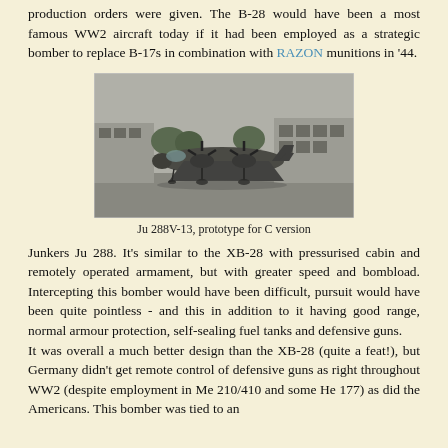production orders were given. The B-28 would have been a most famous WW2 aircraft today if it had been employed as a strategic bomber to replace B-17s in combination with RAZON munitions in '44.
[Figure (photo): Black and white photograph of the Ju 288V-13 aircraft on a tarmac, with buildings visible in the background. The twin-engine bomber is shown from a front-side angle.]
Ju 288V-13, prototype for C version
Junkers Ju 288. It's similar to the XB-28 with pressurised cabin and remotely operated armament, but with greater speed and bombload. Intercepting this bomber would have been difficult, pursuit would have been quite pointless - and this in addition to it having good range, normal armour protection, self-sealing fuel tanks and defensive guns.
It was overall a much better design than the XB-28 (quite a feat!), but Germany didn't get remote control of defensive guns as right throughout WW2 (despite employment in Me 210/410 and some He 177) as did the Americans. This bomber was tied to an